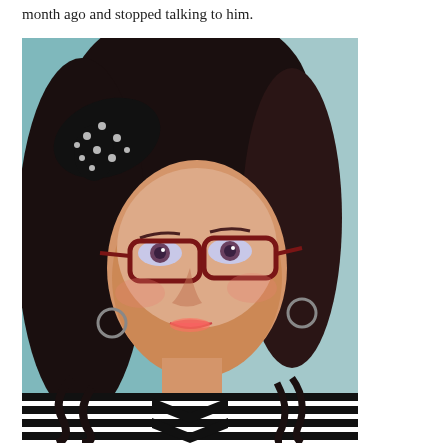month ago and stopped talking to him.
[Figure (photo): Portrait photo of a woman with curly dark hair, wearing red-framed glasses and a black-and-white polka dot hair bow/accessory, coral lipstick, earrings, and a black and white striped top with chevron pattern. She is smiling slightly. Background is teal/green.]